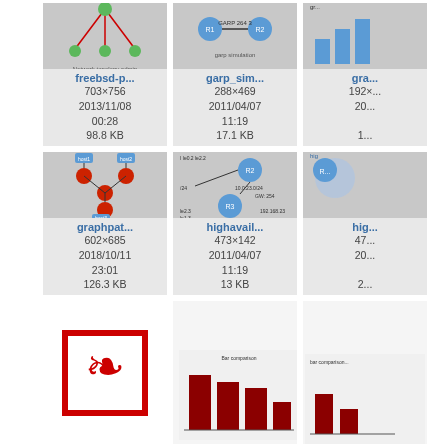[Figure (screenshot): Grid of file thumbnails showing network diagrams and PDF icons. Row 1: freebsd-p... (703x756, 2013/11/08 00:28, 98.8 KB), garp_sim... (288x469, 2011/04/07 11:19, 17.1 KB), partial 3rd card. Row 2: graphpat... (602x685, 2018/10/11 23:01, 126.3 KB), highavail... (473x142, 2011/04/07 11:19, 13 KB), partial 3rd card. Row 3: PDF icon card, bar chart thumbnail, partial 3rd card.]